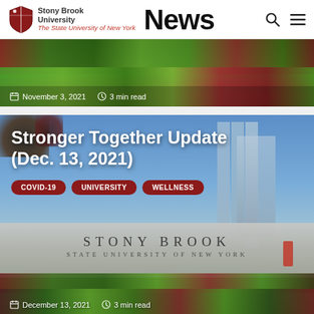Stony Brook University News
[Figure (photo): Colorful garden/foliage photo with date November 3, 2021 and 3 min read overlay]
November 3, 2021  3 min read
[Figure (photo): Stony Brook University entrance sign with campus building in background, article card for Stronger Together Update Dec. 13, 2021]
Stronger Together Update (Dec. 13, 2021)
COVID-19
UNIVERSITY
WELLNESS
December 13, 2021  3 min read